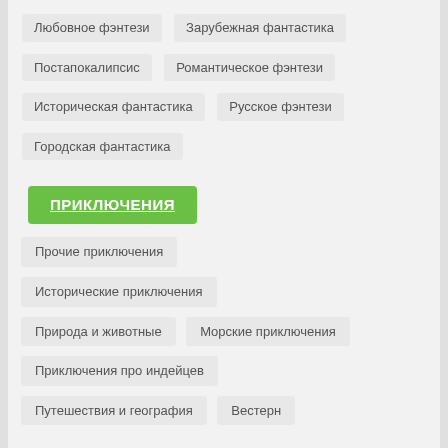Любовное фэнтези
Зарубежная фантастика
Постапокалипсис
Романтическое фэнтези
Историческая фантастика
Русское фэнтези
Городская фантастика
ПРИКЛЮЧЕНИЯ
Прочие приключения
Исторические приключения
Природа и животные
Морские приключения
Приключения про индейцев
Путешествия и география
Вестерн
ДЕТЕКТИВЫ И ТРИЛЛЕРЫ
Иронический детектив
Классический детектив
Триллер
Криминальный детектив
Детектив